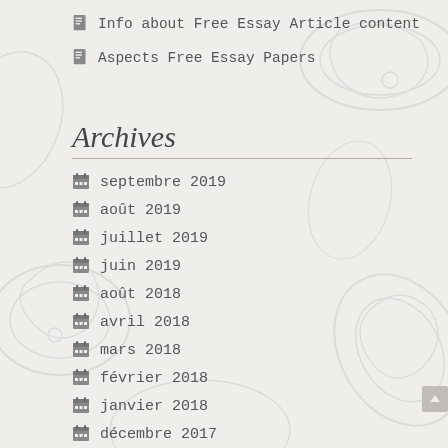Info about Free Essay Article content
Aspects Free Essay Papers
Archives
septembre 2019
août 2019
juillet 2019
juin 2019
août 2018
avril 2018
mars 2018
février 2018
janvier 2018
décembre 2017
novembre 2017